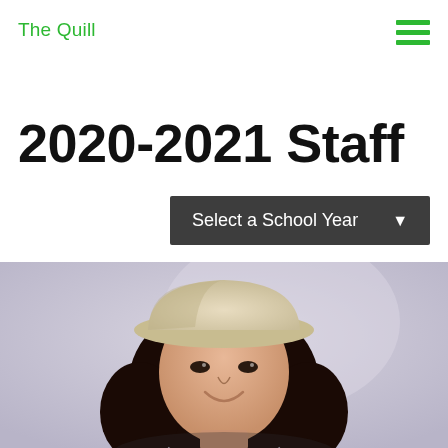The Quill
2020-2021 Staff
Select a School Year
[Figure (photo): Portrait photo of a young woman wearing a cream-colored bucket hat and long dark hair, smiling, against a light grey/lavender wall background.]